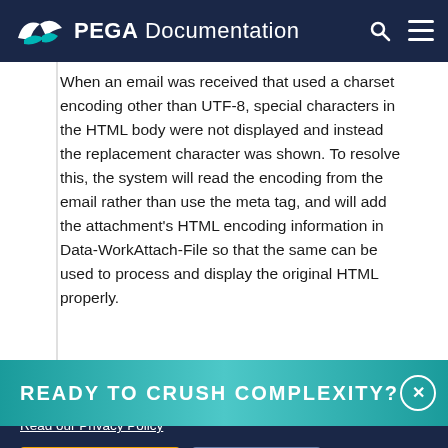PEGA Documentation
When an email was received that used a charset encoding other than UTF-8, special characters in the HTML body were not displayed and instead the replacement character was shown. To resolve this, the system will read the encoding from the email rather than use the meta tag, and will add the attachment's HTML encoding information in Data-WorkAttach-File so that the same can be used to process and display the original HTML properly.
READY TO CRUSH COMPLEXITY?
By using this site, you agree to the use of cookies. Read our Privacy Policy
Accept and continue
About cookies